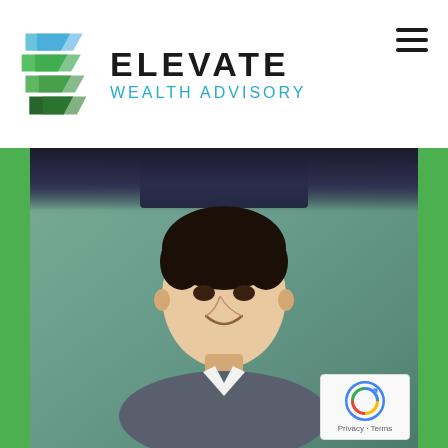[Figure (logo): Elevate Wealth Advisory logo with geometric chevron/shield icon in blue, teal, and green colors, and company name text]
[Figure (photo): Professional headshot of a young Asian man smiling, wearing a grey blazer and white shirt, on a green-grey gradient background. Above is a partial view of another person in a dark suit.]